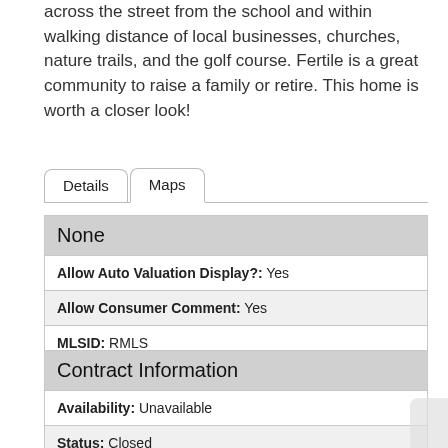across the street from the school and within walking distance of local businesses, churches, nature trails, and the golf course. Fertile is a great community to raise a family or retire. This home is worth a closer look!
| None |
| Allow Auto Valuation Display?: Yes |
| Allow Consumer Comment: Yes |
| MLSID: RMLS |
| Contract Information |
| Availability: Unavailable |
| Status: Closed |